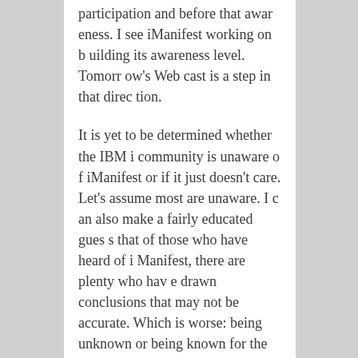participation and before that awareness. I see iManifest working on building its awareness level. Tomorrow's Web cast is a step in that direction.
It is yet to be determined whether the IBM i community is unaware of iManifest or if it just doesn't care. Let's assume most are unaware. I can also make a fairly educated guess that of those who have heard of iManifest, there are plenty who have drawn conclusions that may not be accurate. Which is worse: being unknown or being known for the wrong reasons?
Tomorrow, December 14, at 2 p.m. CST, there will be an iManifest webcast, which is one of the steps being taken to raise awareness of the organization's goals and the processes that are being put in place to re